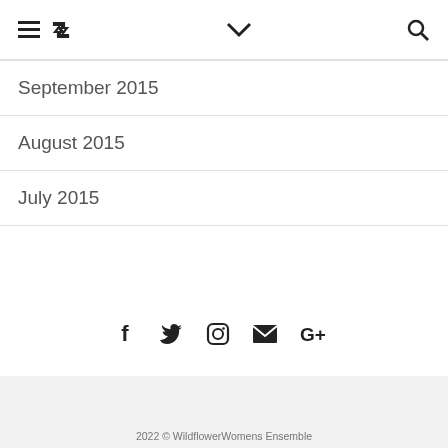≡ ↺ ∨ 🔍
September 2015
August 2015
July 2015
2022 © WildflowerWomens Ensemble